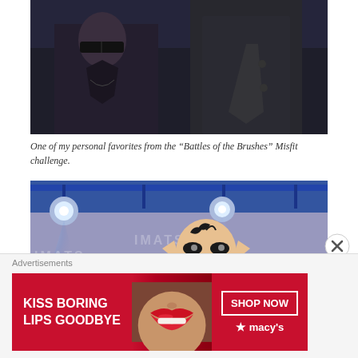[Figure (photo): Black and white photo of two people in formal attire, one wearing sunglasses and dark clothing, another in a suit with a tie, against a dark background.]
One of my personal favorites from the “Battles of the Brushes” Misfit challenge.
[Figure (photo): Photo of a performer in elaborate fantasy/elf makeup and costume on a stage with IMATS branding, blue stage lighting and spotlight effects, with another performer partially visible in the background.]
Advertisements
[Figure (photo): Advertisement banner for Macy's lipstick promotion reading 'KISS BORING LIPS GOODBYE' with a SHOP NOW button and Macy's star logo, featuring a woman's face with red lips.]